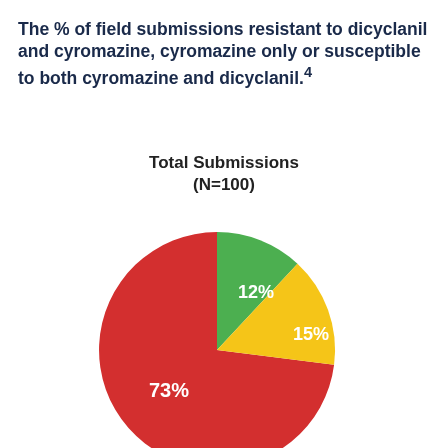The % of field submissions resistant to dicyclanil and cyromazine, cyromazine only or susceptible to both cyromazine and dicyclanil.4
[Figure (pie-chart): Total Submissions (N=100)]